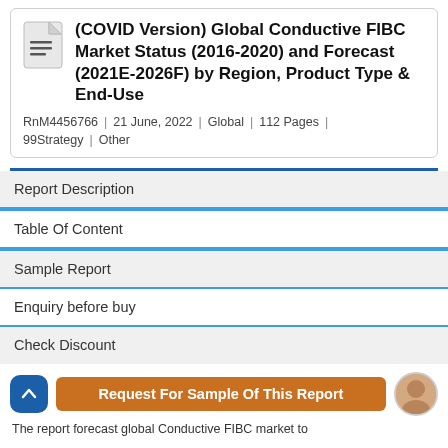(COVID Version) Global Conductive FIBC Market Status (2016-2020) and Forecast (2021E-2026F) by Region, Product Type & End-Use
RnM4456766  |  21 June, 2022  |  Global  |  112 Pages  |  99Strategy  |  Other
Report Description
Table Of Content
Sample Report
Enquiry before buy
Check Discount
Request For Sample Of This Report
The report forecast global Conductive FIBC market to